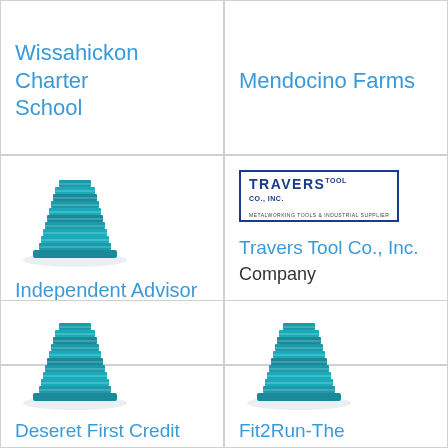Wissahickon Charter School
Mendocino Farms
[Figure (logo): Building icon - teal/blue multi-story building illustration]
Independent Advisor
[Figure (logo): Travers Tool Co., Inc. logo with text TRAVERS TOOL CO., INC. and tagline METALWORKING TOOLS & INDUSTRIAL SUPPLIER]
Travers Tool Co., Inc.
Company
[Figure (logo): Building icon - teal/blue multi-story building illustration]
Deseret First Credit Union
[Figure (logo): Building icon - teal/blue multi-story building illustration]
Fit2Run-The Runner's Superstore